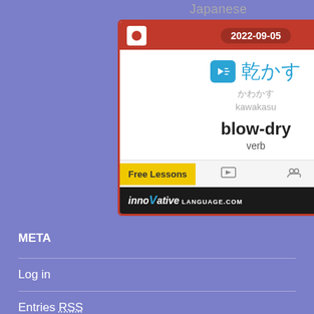Japanese
[Figure (screenshot): Japanese word widget app showing the word 乾かす (kawakasu) meaning blow-dry (verb), dated 2022-09-05, with Free Lessons tab and innovative language.com branding]
META
Log in
Entries RSS
Comments RSS
WordPress.org